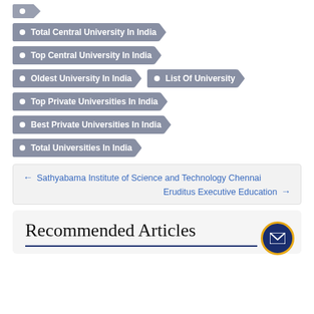Total Central University In India
Top Central University In India
Oldest University In India
List Of University
Top Private Universities In India
Best Private Universities In India
Total Universities In India
← Sathyabama Institute of Science and Technology Chennai
Eruditus Executive Education →
Recommended Articles